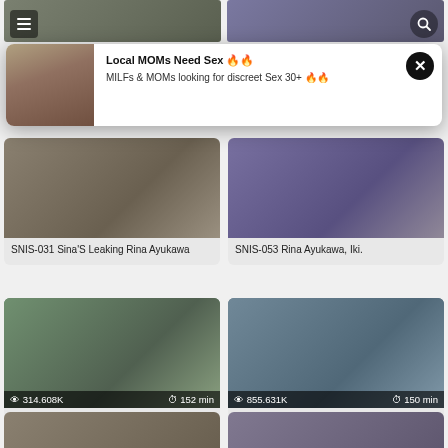[Figure (screenshot): Partial top thumbnails row showing two video thumbnails partially visible at the very top of the page]
[Figure (screenshot): Popup advertisement overlay: 'Local MOMs Need Sex 🔥🔥 / MILFs & MOMs looking for discreet Sex 30+ 🔥🔥' with a photo of a woman and a close button]
SNIS-031 Sina'S Leaking Rina Ayukawa
SNIS-053 Rina Ayukawa, Iki.
[Figure (screenshot): Video thumbnail for SNIS-193 with stats 314.608K views, 152 min]
SNIS-193 I Love Grandpa! Rina Ayukawa
[Figure (screenshot): Video thumbnail for SNIS-012 with stats 855.631K views, 150 min]
SNIS-012 Newly Announced Announcer Rape Report Stage
[Figure (screenshot): Partial video thumbnail bottom-left]
[Figure (screenshot): Partial video thumbnail bottom-right]